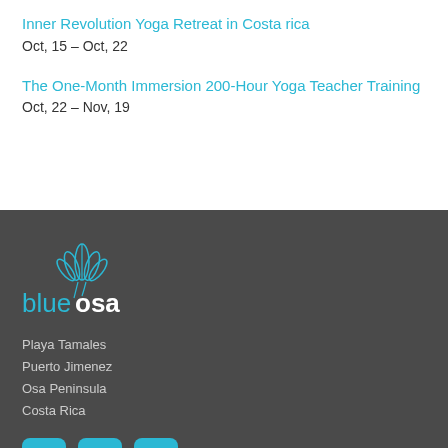Inner Revolution Yoga Retreat in Costa rica
Oct, 15 – Oct, 22
The One-Month Immersion 200-Hour Yoga Teacher Training
Oct, 22 – Nov, 19
[Figure (logo): Blue Osa yoga retreat logo with lotus flower icon and text 'blueosa' in teal and white]
Playa Tamales
Puerto Jimenez
Osa Peninsula
Costa Rica
[Figure (infographic): Social media icons: Facebook, Instagram, YouTube in teal rounded squares]